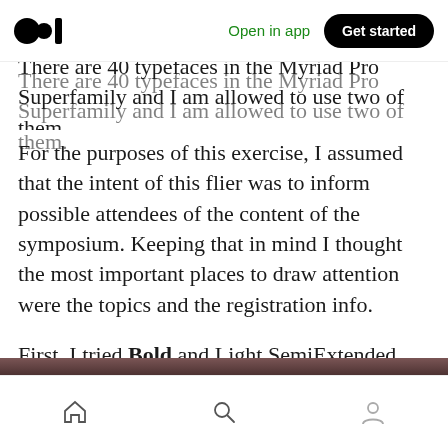Open in app | Get started
There are 40 typefaces in the Myriad Pro Superfamily and I am allowed to use two of them.
For the purposes of this exercise, I assumed that the intent of this flier was to inform possible attendees of the content of the symposium. Keeping that in mind I thought the most important places to draw attention were the topics and the registration info.
First, I tried Bold and Light SemiExtended.
Home | Search | Profile